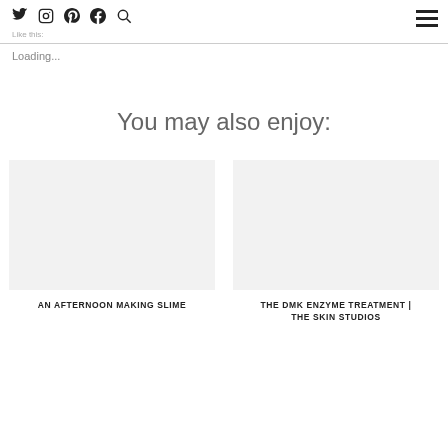Like this:
Loading...
You may also enjoy:
AN AFTERNOON MAKING SLIME
THE DMK ENZYME TREATMENT | THE SKIN STUDIOS